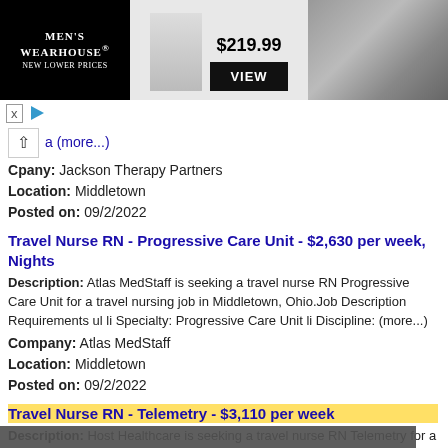[Figure (screenshot): Men's Wearhouse advertisement banner showing a suit for $219.99 with a VIEW button and a couple in formal wear]
a (more...)
Company: Jackson Therapy Partners
Location: Middletown
Posted on: 09/2/2022
Travel Nurse RN - Progressive Care Unit - $2,630 per week, Nights
Description: Atlas MedStaff is seeking a travel nurse RN Progressive Care Unit for a travel nursing job in Middletown, Ohio.Job Description Requirements ul li Specialty: Progressive Care Unit li Discipline: (more...)
Company: Atlas MedStaff
Location: Middletown
Posted on: 09/2/2022
Travel Nurse RN - Telemetry - $3,110 per week
Description: Host Healthcare is seeking a travel nurse RN Telemetry for a travel nursing job in Middletown, Ohio.Job Description Requirements ul li Specialty: Telemetry li Discipline: RN li Start Date: 09/12/2022 (more...)
Cookie notice: This website uses cookies to ensure you get the best experience on our website. Learn more Got it!